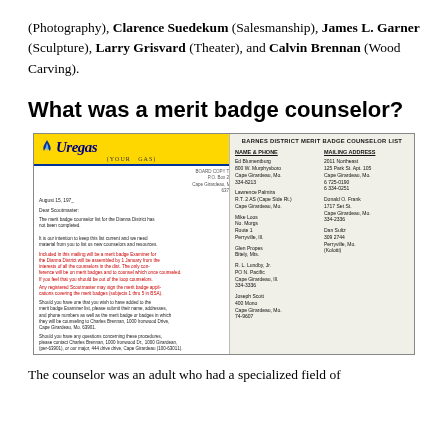(Photography), Clarence Suedekum (Salesmanship), James L. Garner (Sculpture), Larry Grisvard (Theater), and Calvin Brennan (Wood Carving).
What was a merit badge counselor?
[Figure (photo): Scanned image of two documents side by side: on the left, a letter on Uregas (Your Gas) company letterhead with yellow header and blue stripe, addressed to scoutmasters, with some text in red, and signatures at the bottom; on the right, a typed list titled 'Barnes District Merit Badge Counselor List' with two columns for names and addresses.]
The counselor was an adult who had a specialized field of